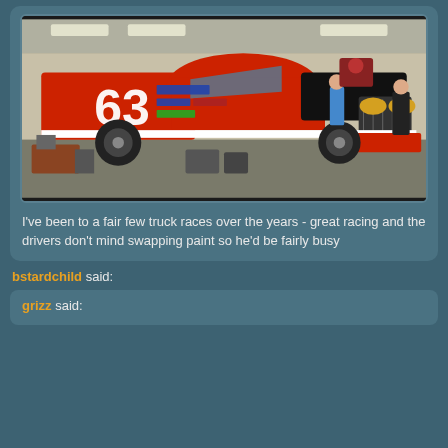[Figure (photo): A red and black NASCAR truck race car with number 63, photographed in a garage/workshop setting. The truck has various sponsor decals and logos including Edelbrock and Chevy. Workers and equipment visible in the background.]
I've been to a fair few truck races over the years - great racing and the drivers don't mind swapping paint so he'd be fairly busy
bstardchild said:
grizz said: